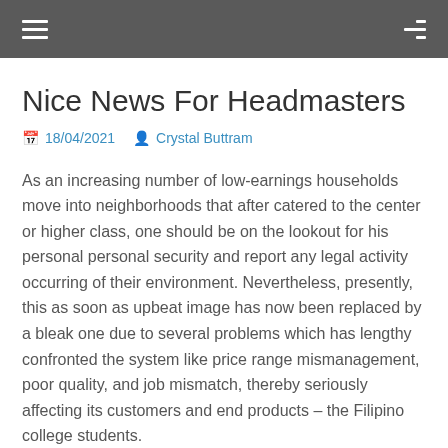Nice News For Headmasters
18/04/2021   Crystal Buttram
As an increasing number of low-earnings households move into neighborhoods that after catered to the center or higher class, one should be on the lookout for his personal personal security and report any legal activity occurring of their environment. Nevertheless, presently, this as soon as upbeat image has now been replaced by a bleak one due to several problems which has lengthy confronted the system like price range mismanagement, poor quality, and job mismatch, thereby seriously affecting its customers and end products – the Filipino college students.
Their wants are met by the Positive Affirmations part of the academic product catalogue. Mastering the sphere of broadcasting as a profession or education cannot be